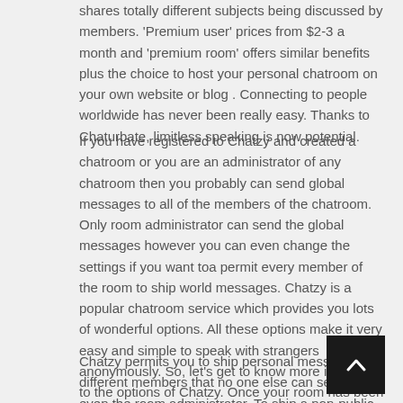shares totally different subjects being discussed by members. 'Premium user' prices from $2-3 a month and 'premium room' offers similar benefits plus the choice to host your personal chatroom on your own website or blog . Connecting to people worldwide has never been really easy. Thanks to Chaturbate, limitless speaking is now potential.
If you have registered to Chatzy and created a chatroom or you are an administrator of any chatroom then you probably can send global messages to all of the members of the chatroom. Only room administrator can send the global messages however you can even change the settings if you want toa permit every member of the room to ship world messages. Chatzy is a popular chatroom service which provides you lots of wonderful options. All these options make it very easy and simple to speak with strangers anonymously. So, let's get to know more in regards to the options of Chatzy. Once your room has been created, you will note the main features that you must explore to feel the chat room and see the options which may be free.
Chatzy permits you to ship personal messages to different members that no one else can see, not even the room administrator. To ship a non-public message, you possibly can